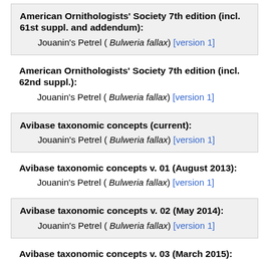American Ornithologists' Society 7th edition (incl. 61st suppl. and addendum): Jouanin's Petrel ( Bulweria fallax) [version 1]
American Ornithologists' Society 7th edition (incl. 62nd suppl.): Jouanin's Petrel ( Bulweria fallax) [version 1]
Avibase taxonomic concepts (current): Jouanin's Petrel ( Bulweria fallax) [version 1]
Avibase taxonomic concepts v. 01 (August 2013): Jouanin's Petrel ( Bulweria fallax) [version 1]
Avibase taxonomic concepts v. 02 (May 2014): Jouanin's Petrel ( Bulweria fallax) [version 1]
Avibase taxonomic concepts v. 03 (March 2015):